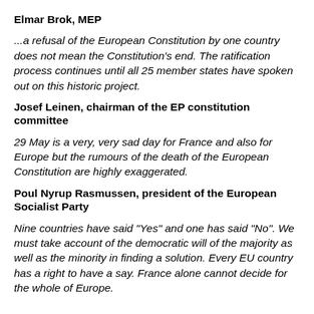Elmar Brok, MEP
...a refusal of the European Constitution by one country does not mean the Constitution's end. The ratification process continues until all 25 member states have spoken out on this historic project.
Josef Leinen, chairman of the EP constitution committee
29 May is a very, very sad day for France and also for Europe but the rumours of the death of the European Constitution are highly exaggerated.
Poul Nyrup Rasmussen, president of the European Socialist Party
Nine countries have said "Yes" and one has said "No". We must take account of the democratic will of the majority as well as the minority in finding a solution. Every EU country has a right to have a say. France alone cannot decide for the whole of Europe.